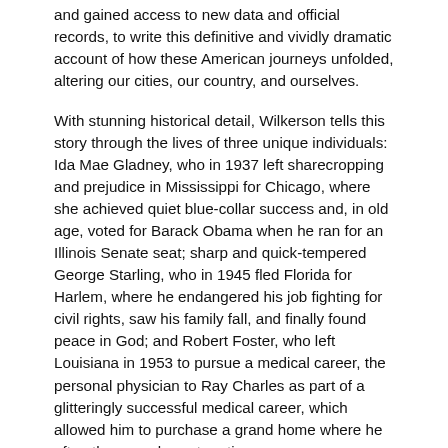and gained access to new data and official records, to write this definitive and vividly dramatic account of how these American journeys unfolded, altering our cities, our country, and ourselves.
With stunning historical detail, Wilkerson tells this story through the lives of three unique individuals: Ida Mae Gladney, who in 1937 left sharecropping and prejudice in Mississippi for Chicago, where she achieved quiet blue-collar success and, in old age, voted for Barack Obama when he ran for an Illinois Senate seat; sharp and quick-tempered George Starling, who in 1945 fled Florida for Harlem, where he endangered his job fighting for civil rights, saw his family fall, and finally found peace in God; and Robert Foster, who left Louisiana in 1953 to pursue a medical career, the personal physician to Ray Charles as part of a glitteringly successful medical career, which allowed him to purchase a grand home where he often threw exuberant parties.
Wilkerson brilliantly captures their first treacherous and exhausting cross-country trips by car and train and their new lives in colonies that grew into ghettos, as well as how they changed these cities with southern food, faith, and culture and improved them with discipline, drive, and hard work. Both a riveting microcosm and a major assessment, The Warmth of Other Suns is a bold, remarkable, and riveting work, a superb account of an "unrecognized immigration" within our own land. Through the breadth of its narrative, the beauty of the writing, the depth of its research, and the fullness of the people and lives portrayed herein, this book is destined to become a classic.